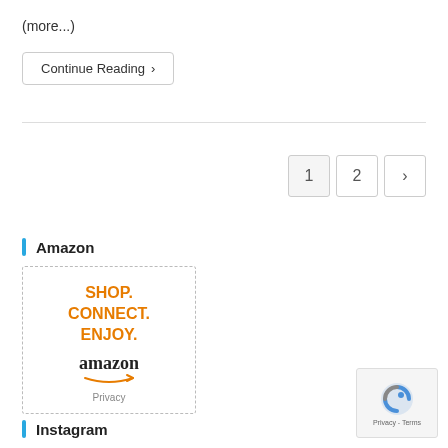(more...)
Continue Reading ›
1  2  ›
Amazon
[Figure (illustration): Amazon advertisement box with text SHOP. CONNECT. ENJOY. and amazon logo with arrow, and Privacy label at bottom]
Instagram